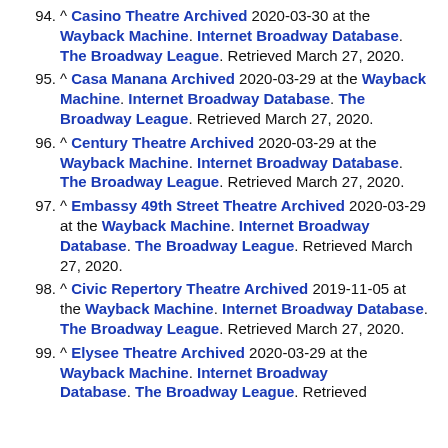94. ^ Casino Theatre Archived 2020-03-30 at the Wayback Machine. Internet Broadway Database. The Broadway League. Retrieved March 27, 2020.
95. ^ Casa Manana Archived 2020-03-29 at the Wayback Machine. Internet Broadway Database. The Broadway League. Retrieved March 27, 2020.
96. ^ Century Theatre Archived 2020-03-29 at the Wayback Machine. Internet Broadway Database. The Broadway League. Retrieved March 27, 2020.
97. ^ Embassy 49th Street Theatre Archived 2020-03-29 at the Wayback Machine. Internet Broadway Database. The Broadway League. Retrieved March 27, 2020.
98. ^ Civic Repertory Theatre Archived 2019-11-05 at the Wayback Machine. Internet Broadway Database. The Broadway League. Retrieved March 27, 2020.
99. ^ Elysee Theatre Archived 2020-03-29 at the Wayback Machine. Internet Broadway Database. The Broadway League. Retrieved